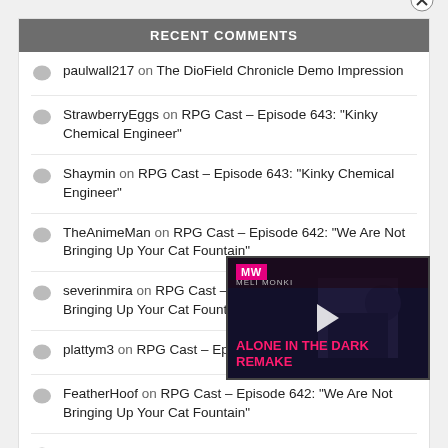RECENT COMMENTS
paulwall217 on The DioField Chronicle Demo Impression
StrawberryEggs on RPG Cast – Episode 643: "Kinky Chemical Engineer"
Shaymin on RPG Cast – Episode 643: "Kinky Chemical Engineer"
TheAnimeMan on RPG Cast – Episode 642: "We Are Not Bringing Up Your Cat Fountain"
severinmira on RPG Cast – Episode 642: "We Are Not Bringing Up Your Cat Fountain"
plattym3 on RPG Cast – Episode 642: "We..."
FeatherHoof on RPG Cast – Episode 642: "We Are Not Bringing Up Your Cat Fountain"
StrawberryEggs on RPG Cast – Episode 642: "We Are Not Bringing Up Your Cat Fountain"
[Figure (screenshot): Video overlay thumbnail showing 'Alone in the Dark Remake' with MW logo, play button, and close button]